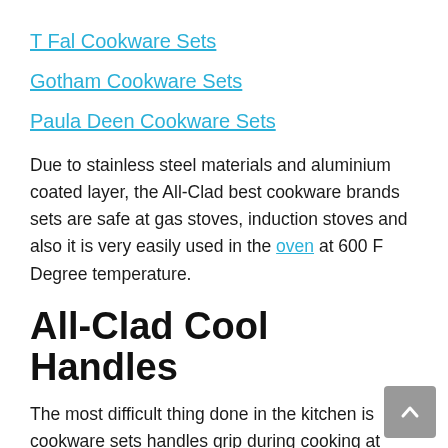T Fal Cookware Sets
Gotham Cookware Sets
Paula Deen Cookware Sets
Due to stainless steel materials and aluminium coated layer, the All-Clad best cookware brands sets are safe at gas stoves, induction stoves and also it is very easily used in the oven at 600 F Degree temperature.
All-Clad Cool Handles
The most difficult thing done in the kitchen is cookware sets handles grip during cooking at